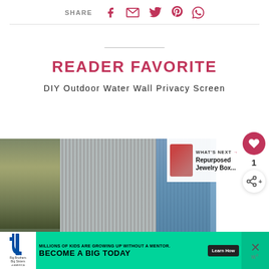SHARE [facebook] [email] [twitter] [pinterest] [whatsapp]
READER FAVORITE
DIY Outdoor Water Wall Privacy Screen
[Figure (photo): Photo of a DIY outdoor water wall privacy screen, showing corrugated metal sheeting with water flowing, next to a wooden fence and greenery. A 'WHAT'S NEXT' overlay reads 'Repurposed Jewelry Box...']
[Figure (infographic): Advertisement banner: Big Brothers Big Sisters. Text: 'MILLIONS OF KIDS ARE GROWING UP WITHOUT A MENTOR. BECOME A BIG TODAY' with a Learn How button.]